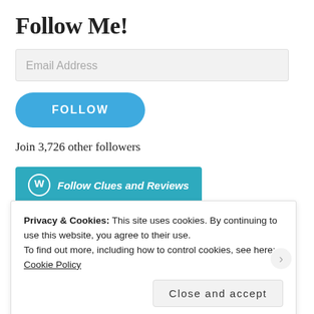Follow Me!
Email Address
FOLLOW
Join 3,726 other followers
Follow Clues and Reviews
Looking For Something?
Privacy & Cookies: This site uses cookies. By continuing to use this website, you agree to their use.
To find out more, including how to control cookies, see here: Cookie Policy
Close and accept